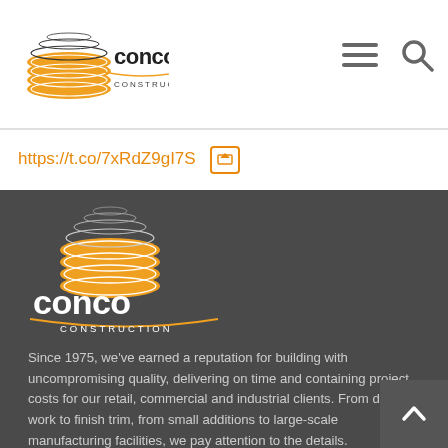[Figure (logo): Conco Construction logo in header - orange coil/stack icon with 'conco CONSTRUCTION' text]
https://t.co/7xRdZ9gI7S
[Figure (logo): Large Conco Construction logo on dark background - white/orange coil icon with white 'conco CONSTRUCTION' text]
Since 1975, we've earned a reputation for building with uncompromising quality, delivering on time and containing project costs for our retail, commercial and industrial clients. From dirt work to finish trim, from small additions to large-scale manufacturing facilities, we pay attention to the details.